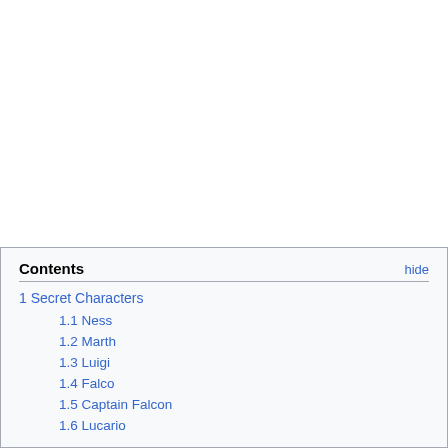1 Secret Characters
1.1 Ness
1.2 Marth
1.3 Luigi
1.4 Falco
1.5 Captain Falcon
1.6 Lucario